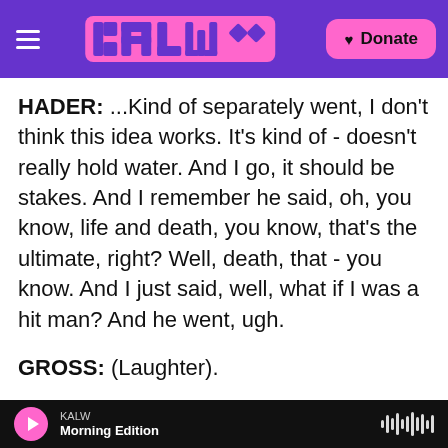KALW / Morning Edition — Donate
HADER: ...Kind of separately went, I don't think this idea works. It's kind of - doesn't really hold water. And I go, it should be stakes. And I remember he said, oh, you know, life and death, you know, that's the ultimate, right? Well, death, that - you know. And I just said, well, what if I was a hit man? And he went, ugh.
GROSS: (Laughter).
HADER: I hate hit men. And he said, hit man's like dog catcher. There's more in television and movies and - than there are in real life, you know? There's
KALW  Morning Edition